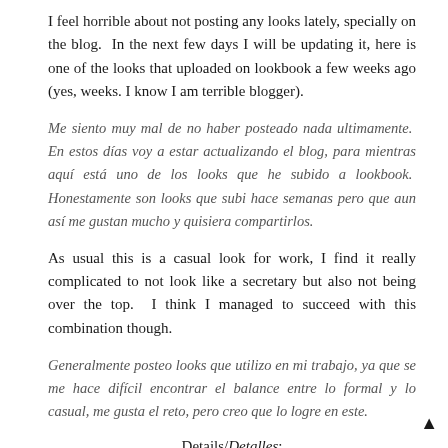I feel horrible about not posting any looks lately, specially on the blog. In the next few days I will be updating it, here is one of the looks that uploaded on lookbook a few weeks ago (yes, weeks. I know I am terrible blogger).
Me siento muy mal de no haber posteado nada ultimamente. En estos días voy a estar actualizando el blog, para mientras aquí está uno de los looks que he subido a lookbook. Honestamente son looks que subi hace semanas pero que aun así me gustan mucho y quisiera compartirlos.
As usual this is a casual look for work, I find it really complicated to not look like a secretary but also not being over the top. I think I managed to succeed with this combination though.
Generalmente posteo looks que utilizo en mi trabajo, ya que se me hace difícil encontrar el balance entre lo formal y lo casual, me gusta el reto, pero creo que lo logre en este.
Details/Detalles:
Blouses -